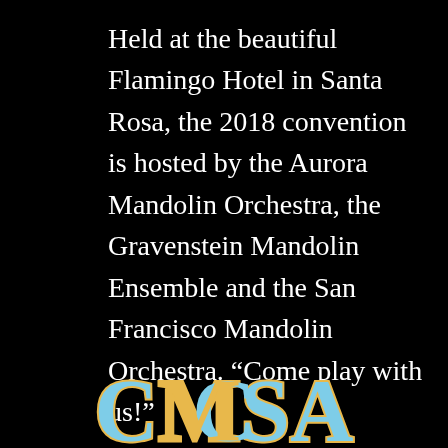Held at the beautiful Flamingo Hotel in Santa Rosa, the 2018 convention is hosted by the Aurora Mandolin Orchestra, the Gravenstein Mandolin Ensemble and the San Francisco Mandolin Orchestra. “Come play with us!”
REGISTER NOW →
[Figure (logo): CMSA logo text in decorative lettering, light blue and gold colors on black background]